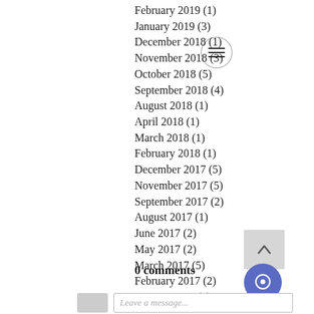February 2019 (1)
January 2019 (3)
December 2018 (1)
November 2018 (3)
October 2018 (5)
September 2018 (4)
August 2018 (1)
April 2018 (1)
March 2018 (1)
February 2018 (1)
December 2017 (5)
November 2017 (5)
September 2017 (2)
August 2017 (1)
June 2017 (2)
May 2017 (2)
March 2017 (5)
February 2017 (2)
January 2017 (3)
0 comments